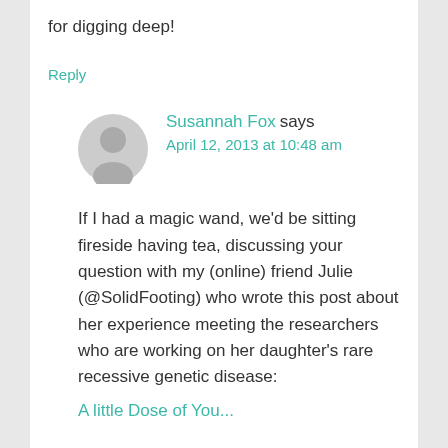for digging deep!
Reply
[Figure (illustration): Gray circular avatar icon showing a generic user silhouette]
Susannah Fox says
April 12, 2013 at 10:48 am
If I had a magic wand, we’d be sitting fireside having tea, discussing your question with my (online) friend Julie (@SolidFooting) who wrote this post about her experience meeting the researchers who are working on her daughter’s rare recessive genetic disease:
A little Dose of You...